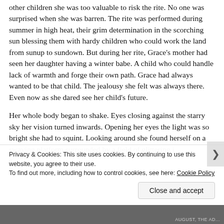other children she was too valuable to risk the rite. No one was surprised when she was barren. The rite was performed during summer in high heat, their grim determination in the scorching sun blessing them with hardy children who could work the land from sunup to sundown. But during her rite, Grace's mother had seen her daughter having a winter babe. A child who could handle lack of warmth and forge their own path. Grace had always wanted to be that child. The jealousy she felt was always there. Even now as she dared see her child's future.
Her whole body began to shake. Eyes closing against the starry sky her vision turned inwards. Opening her eyes the light was so bright she had to squint. Looking around she found herself on a swaying platform surrounded by a field of glittering j... c...
Privacy & Cookies: This site uses cookies. By continuing to use this website, you agree to their use.
To find out more, including how to control cookies, see here: Cookie Policy
Close and accept